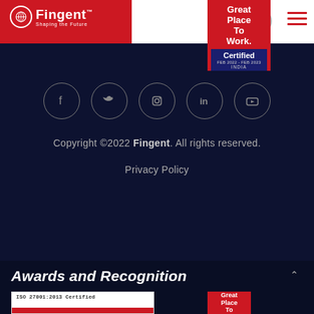Fingent - Shaping the Future
[Figure (logo): Fingent logo with globe icon and tagline 'Shaping the Future' on red background, plus Great Place To Work Certified badge (FEB 2022 - FEB 2023, India)]
[Figure (infographic): Five social media icons in circles: Facebook, Twitter, Instagram, LinkedIn, YouTube]
Copyright ©2022 Fingent. All rights reserved.
Privacy Policy
Awards and Recognition
[Figure (other): ISO 27001:2013 Certified badge with red bar at bottom]
[Figure (other): Great Place To Work badge (bottom, partial)]